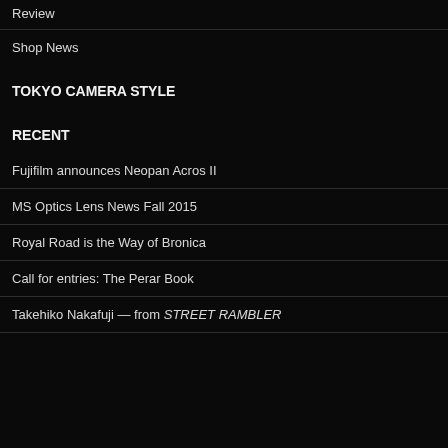Review
Shop News
TOKYO CAMERA STYLE
RECENT
Fujifilm announces Neopan Acros II
MS Optics Lens News Fall 2015
Royal Road is the Way of Bronica
Call for entries: The Perar Book
Takehiko Nakafuji — from STREET RAMBLER